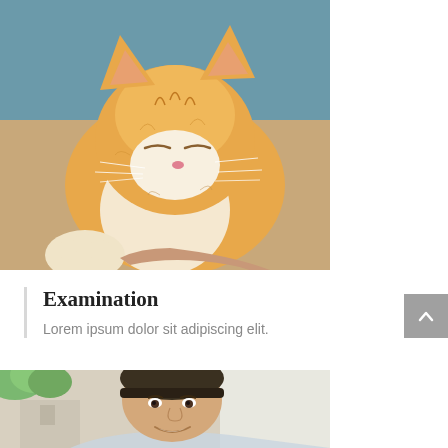[Figure (photo): Close-up photo of a sleeping orange and white kitten being held by a person's hand, with a blue fabric background]
Examination
Lorem ipsum dolor sit adipiscing elit.
[Figure (photo): Photo of a teenage boy wearing a cap, smiling, partially visible at the bottom of the page]